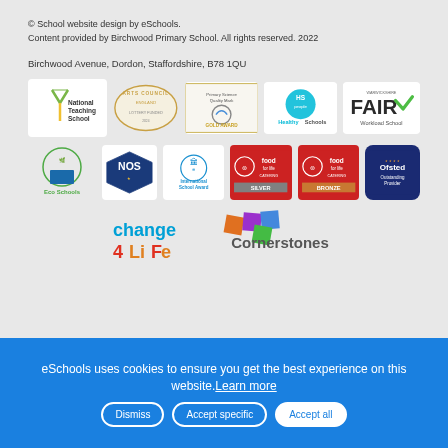© School website design by eSchools.
Content provided by Birchwood Primary School. All rights reserved. 2022
Birchwood Avenue, Dordon, Staffordshire, B78 1QU
[Figure (logo): National Teaching School logo]
[Figure (logo): Arts Council England logo]
[Figure (logo): Primary Science Quality Mark Gold Award logo]
[Figure (logo): Healthy Schools logo]
[Figure (logo): Warwickshire Fair Workload School logo]
[Figure (logo): Eco Schools logo]
[Figure (logo): NOS National Online Safety logo]
[Figure (logo): International School Award logo]
[Figure (logo): Food for Life Silver logo]
[Figure (logo): Food for Life Bronze logo]
[Figure (logo): Ofsted Outstanding Provider logo]
[Figure (logo): Change 4 Life logo]
[Figure (logo): Cornerstones logo]
eSchools uses cookies to ensure you get the best experience on this website. Learn more
Dismiss | Accept specific | Accept all